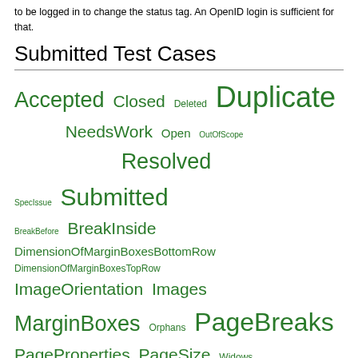to be logged in to change the status tag. An OpenID login is sufficient for that.
Submitted Test Cases
[Figure (other): Tag cloud showing test case status and group tags in green, varying font sizes: Accepted, Closed, Deleted, Duplicate, NeedsWork, Open, OutOfScope, Resolved, SpecIssue, Submitted, BreakBefore, BreakInside, DimensionOfMarginBoxesBottomRow, DimensionOfMarginBoxesTopRow, ImageOrientation, Images, MarginBoxes, Orphans, PageBreaks, PageProperties, PageSize, Widows]
Filtered by status=Closed & group=DimensionOfMarginBoxesBottomRow
Show all (remove filter/sort)
| ↓ Submission | Status | Authors | Groups | URL |
| --- | --- | --- | --- | --- |
| Nothing found |  |  |  |  |